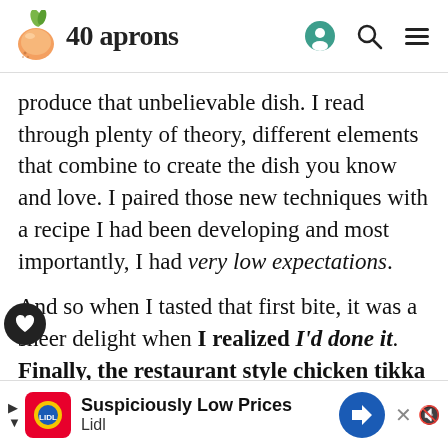40 aprons
produce that unbelievable dish. I read through plenty of theory, different elements that combine to create the dish you know and love. I paired those new techniques with a recipe I had been developing and most importantly, I had very low expectations.
And so when I tasted that first bite, it was a sheer delight when I realized I'd done it. Finally, the restaurant style chicken tikka masala recipe I'd been dreaming of! The slow-cooked onions, garlic, tomatoes, and spices; the rich and creamy half and half; the heavily spiced chicken that's marinated to perfection – every
[Figure (infographic): Lidl advertisement banner: Suspiciously Low Prices with Lidl logo and blue arrow sign icon]